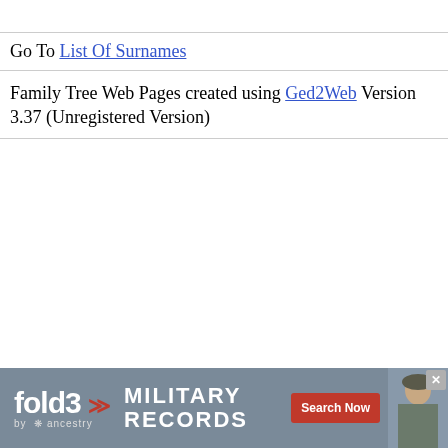Go To List Of Surnames
Family Tree Web Pages created using Ged2Web Version 3.37 (Unregistered Version)
[Figure (other): fold3 by Ancestry advertisement banner for Military Records with Search Now button and a photo of a soldier]